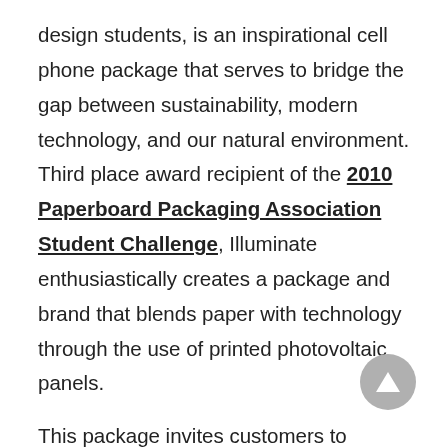design students, is an inspirational cell phone package that serves to bridge the gap between sustainability, modern technology, and our natural environment. Third place award recipient of the 2010 Paperboard Packaging Association Student Challenge, Illuminate enthusiastically creates a package and brand that blends paper with technology through the use of printed photovoltaic panels.

This package invites customers to experience the unique design of a circular box. The form of the circle lead to a design process of iterative human actions where opening and closing the box became a memorable instance in the life of the cell phone.